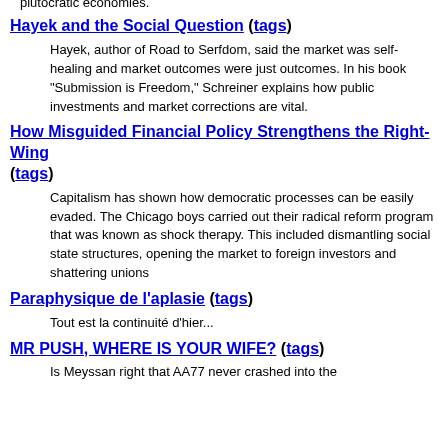plutocratic economies.
Hayek and the Social Question (tags)
Hayek, author of Road to Serfdom, said the market was self-healing and market outcomes were just outcomes. In his book "Submission is Freedom," Schreiner explains how public investments and market corrections are vital.
How Misguided Financial Policy Strengthens the Right-Wing (tags)
Capitalism has shown how democratic processes can be easily evaded. The Chicago boys carried out their radical reform program that was known as shock therapy. This included dismantling social state structures, opening the market to foreign investors and shattering unions
Paraphysique de l'aplasie (tags)
Tout est la continuité d'hier...
MR PUSH, WHERE IS YOUR WIFE? (tags)
Is Meyssan right that AA77 never crashed into the